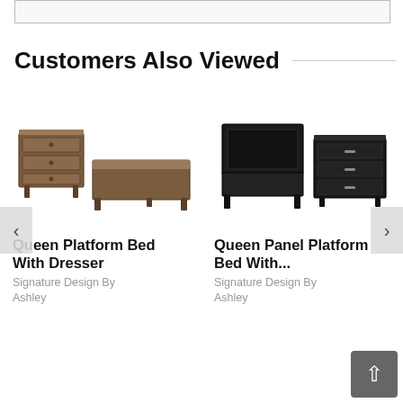[Figure (screenshot): Top portion of a product image partially visible at top of page]
Customers Also Viewed
[Figure (photo): Queen Platform Bed With Dresser - brown wood finish, showing a dresser and platform bed frame]
[Figure (photo): Queen Panel Platform Bed With... - black finish, showing a panel bed and dresser]
Queen Platform Bed With Dresser
Signature Design By Ashley
Queen Panel Platform Bed With...
Signature Design By Ashley